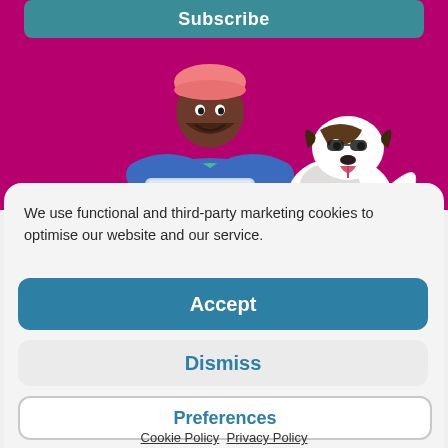[Figure (illustration): Screenshot of a website cookie consent modal. Top section has magenta/purple background with a 'Subscribe' teal button and an illustration of a young man in a blue jacket and pink beanie hat working on a laptop, with a Jack Russell terrier dog beside him. Below is a white rounded card with cookie consent text and three buttons: Accept, Dismiss, Preferences, and links to Cookie Policy and Privacy Policy.]
We use functional and third-party marketing cookies to optimise our website and our service.
Accept
Dismiss
Preferences
Cookie Policy   Privacy Policy